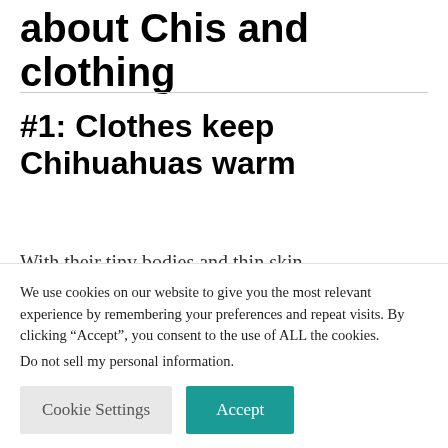about Chis and clothing
#1: Clothes keep Chihuahuas warm
With their tiny bodies and thin skin, Chihuahuas get cold easily.
We use cookies on our website to give you the most relevant experience by remembering your preferences and repeat visits. By clicking “Accept”, you consent to the use of ALL the cookies.
Do not sell my personal information.